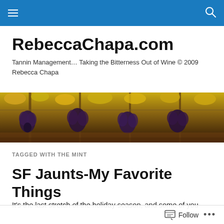Navigation bar with menu and search icons
RebeccaChapa.com
Tannin Management… Taking the Bitterness Out of Wine © 2009 Rebecca Chapa
[Figure (photo): Vineyard banner image showing clusters of dark grapes hanging on vines with autumn yellow foliage in background]
TAGGED WITH THE MINT
SF Jaunts-My Favorite Things
It's the last stretch of the holiday season, and some of you
Follow  •••